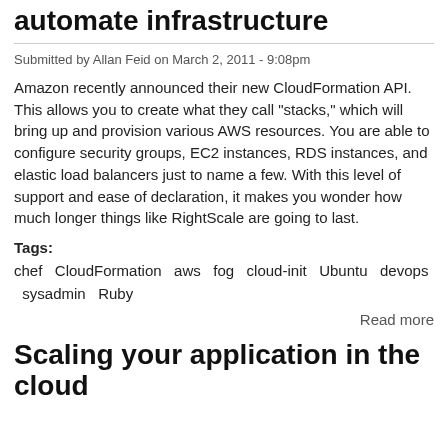automate infrastructure
Submitted by Allan Feid on March 2, 2011 - 9:08pm
Amazon recently announced their new CloudFormation API. This allows you to create what they call "stacks," which will bring up and provision various AWS resources. You are able to configure security groups, EC2 instances, RDS instances, and elastic load balancers just to name a few. With this level of support and ease of declaration, it makes you wonder how much longer things like RightScale are going to last.
Tags: chef CloudFormation aws fog cloud-init Ubuntu devops sysadmin Ruby
Read more
Scaling your application in the cloud